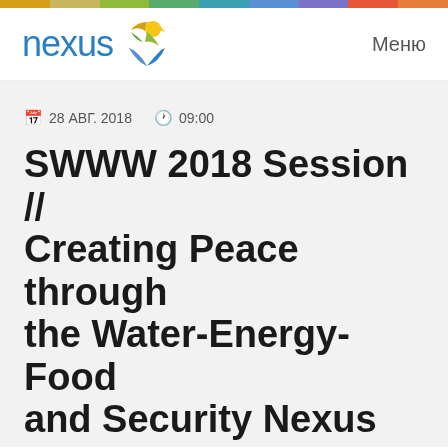nexus  Меню
28 АВГ. 2018   09:00
SWWW 2018 Session // Creating Peace through the Water-Energy-Food and Security Nexus Perspective
In many places, dwindling water and land